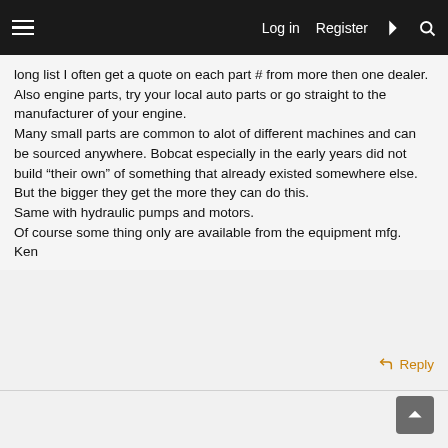≡   Log in   Register   ⚡   🔍
long list I often get a quote on each part # from more then one dealer.
Also engine parts, try your local auto parts or go straight to the manufacturer of your engine.
Many small parts are common to alot of different machines and can be sourced anywhere. Bobcat especially in the early years did not build “their own” of something that already existed somewhere else. But the bigger they get the more they can do this.
Same with hydraulic pumps and motors.
Of course some thing only are available from the equipment mfg.
Ken
↩ Reply